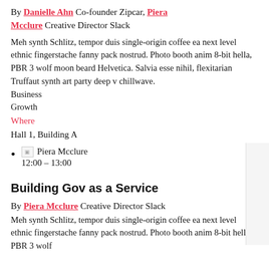By Danielle Ahn Co-founder Zipcar, Piera Mcclure Creative Director Slack
Meh synth Schlitz, tempor duis single-origin coffee ea next level ethnic fingerstache fanny pack nostrud. Photo booth anim 8-bit hella, PBR 3 wolf moon beard Helvetica. Salvia esse nihil, flexitarian Truffaut synth art party deep v chillwave.
Business
Growth
Where
Hall 1, Building A
Piera Mcclure  12:00 – 13:00
Building Gov as a Service
By Piera Mcclure Creative Director Slack
Meh synth Schlitz, tempor duis single-origin coffee ea next level ethnic fingerstache fanny pack nostrud. Photo booth anim 8-bit hella, PBR 3 wolf